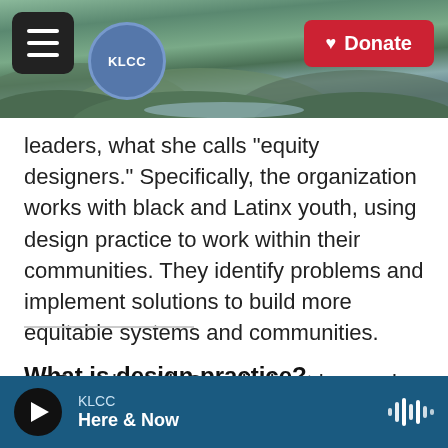[Figure (photo): KLCC public radio website header banner showing a scenic landscape with green hills, a river, and mountains in the background. The header contains a hamburger menu button on the left, KLCC circular logo, and a red Donate button on the right.]
leaders, what she calls "equity designers." Specifically, the organization works with black and Latinx youth, using design practice to work within their communities. They identify problems and implement solutions to build more equitable systems and communities.

NPR spoke with Carroll about her work.
What is design practice?
KLCC
Here & Now